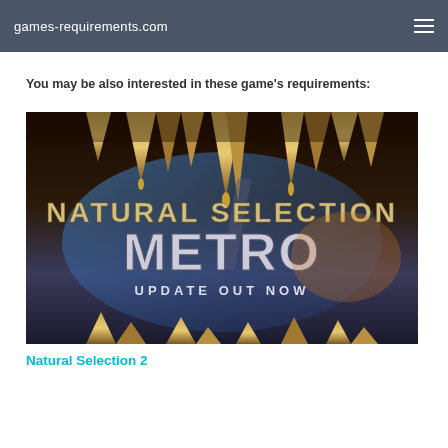games-requirements.com
You may be also interested in these game's requirements:
[Figure (screenshot): Game promotional banner for Natural Selection 2 Metro Update Out Now, showing monster teeth/fangs at top and bottom with the game title text in the center]
Natural Selection 2